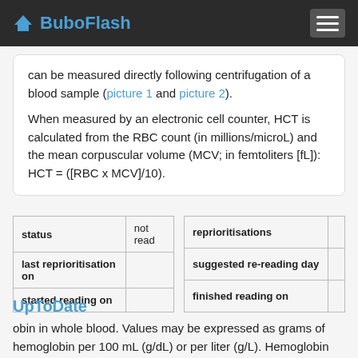BuboFlash
can be measured directly following centrifugation of a blood sample (picture 1 and picture 2).

When measured by an electronic cell counter, HCT is calculated from the RBC count (in millions/microL) and the mean corpuscular volume (MCV; in femtoliters [fL]): HCT = ([RBC x MCV]/10).
| status | not read |
| --- | --- |
| last reprioritisation on |  |
| started reading on |  |
| reprioritisations |  |
| --- | --- |
| suggested re-reading day |  |
| finished reading on |  |
UpToDate
obin in whole blood. Values may be expressed as grams of hemoglobin per 100 mL (g/dL) or per liter (g/L). Hemoglobin can be reported non-invasively by continuous monitoring [1-3]. •Hematocrit – <span>Hematocrit (HCT), also called packed cell volume (PCV), is the